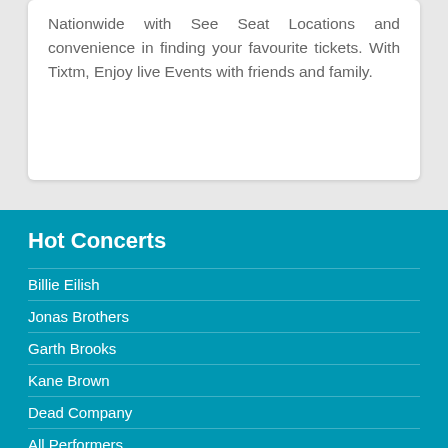Nationwide with See Seat Locations and convenience in finding your favourite tickets. With Tixtm, Enjoy live Events with friends and family.
Hot Concerts
Billie Eilish
Jonas Brothers
Garth Brooks
Kane Brown
Dead Company
All Performers